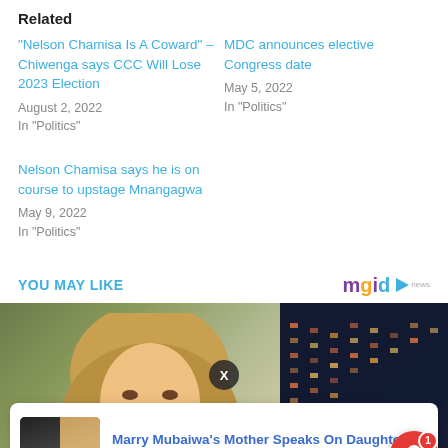Related
"Nelson Chamisa Is A Coward" – Chiwenga says CCC Will Lose 2023 Election
August 2, 2022
In "Politics"
MDC announces elective Congress date
May 5, 2022
In "Politics"
Nelson Chamisa says he is on course to upstage Mnangagwa
May 9, 2022
In "Politics"
YOU MAY LIKE
[Figure (photo): Promotional content section with a woman's photo background and a popup card for Marry Mubaiwa's Mother Speaks On Daughter's article from 1 day ago, with mgid logo and notification bell.]